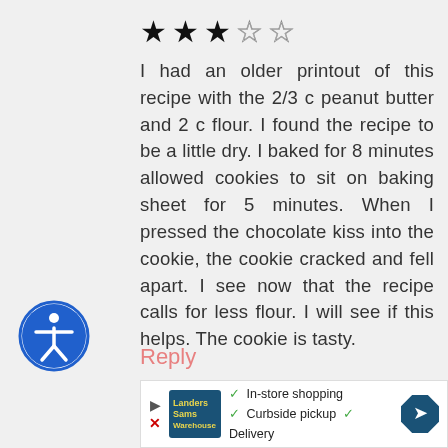[Figure (other): 3 out of 5 stars rating: 3 filled stars and 2 empty stars]
I had an older printout of this recipe with the 2/3 c peanut butter and 2 c flour. I found the recipe to be a little dry. I baked for 8 minutes allowed cookies to sit on baking sheet for 5 minutes. When I pressed the chocolate kiss into the cookie, the cookie cracked and fell apart. I see now that the recipe calls for less flour. I will see if this helps. The cookie is tasty.
[Figure (illustration): Accessibility icon: blue circle with white person figure]
Reply
[Figure (infographic): Advertisement banner: store logo, checkmarks for In-store shopping, Curbside pickup, Delivery, and a blue diamond arrow navigation icon]